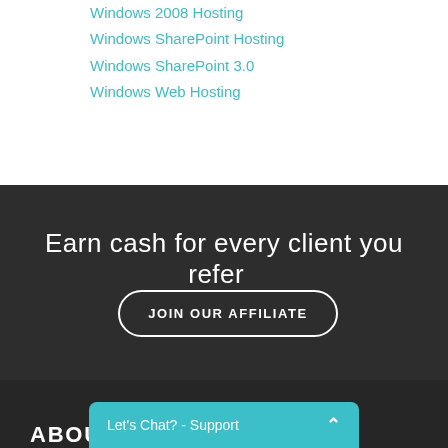Windows 2008 Hosting
Windows SharePoint Hosting
Windows SharePoint 3.0
Windows Web Hosting
Earn cash for every client you refer
JOIN OUR AFFILIATE
ABOU
Let's Chat? - Support